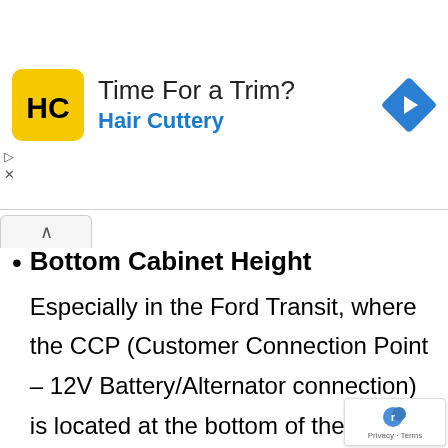[Figure (advertisement): Hair Cuttery ad banner with yellow logo, 'Time For a Trim?' headline, 'Hair Cuttery' subtext in blue, and a blue navigation diamond icon on the right.]
Bottom Cabinet Height
Especially in the Ford Transit, where the CCP (Customer Connection Point – 12V Battery/Alternator connection) is located at the bottom of the driver's seat, just next to the bed, I want to reserve the cabinets under the bed as a battery storage area. These cabinets have to conform to minimum battery sizes. A contemplating to install Lithium batteries,